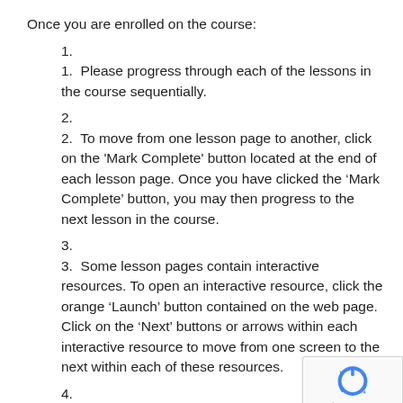Once you are enrolled on the course:
Please progress through each of the lessons in the course sequentially.
To move from one lesson page to another, click on the 'Mark Complete' button located at the end of each lesson page. Once you have clicked the ‘Mark Complete’ button, you may then progress to the next lesson in the course.
Some lesson pages contain interactive resources. To open an interactive resource, click the orange ‘Launch’ button contained on the web page. Click on the ‘Next’ buttons or arrows within each interactive resource to move from one screen to the next within each of these resources.
Document names in blue within a lesson or topic page denote that the document is available to download. Just click on the document name (in blue) to open it for viewing and download.